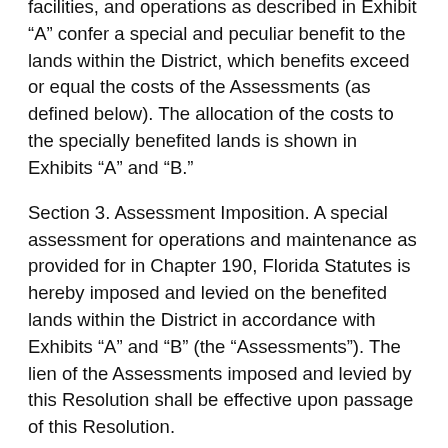facilities, and operations as described in Exhibit “A” confer a special and peculiar benefit to the lands within the District, which benefits exceed or equal the costs of the Assessments (as defined below). The allocation of the costs to the specially benefited lands is shown in Exhibits “A” and “B.”
Section 3. Assessment Imposition. A special assessment for operations and maintenance as provided for in Chapter 190, Florida Statutes is hereby imposed and levied on the benefited lands within the District in accordance with Exhibits “A” and “B” (the “Assessments”). The lien of the Assessments imposed and levied by this Resolution shall be effective upon passage of this Resolution.